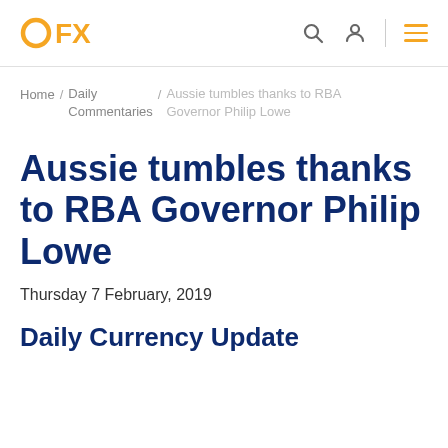OFX
Home / Daily Commentaries / Aussie tumbles thanks to RBA Governor Philip Lowe
Aussie tumbles thanks to RBA Governor Philip Lowe
Thursday 7 February, 2019
Daily Currency Update